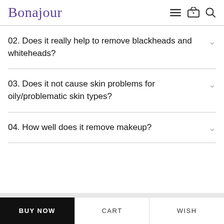Bonajour
02. Does it really help to remove blackheads and whiteheads?
03. Does it not cause skin problems for oily/problematic skin types?
04. How well does it remove makeup?
BUY NOW | CART | WISH